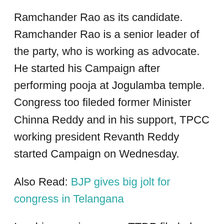Ramchander Rao as its candidate. Ramchander Rao is a senior leader of the party, who is working as advocate. He started his Campaign after performing pooja at Jogulamba temple. Congress too fileded former Minister Chinna Reddy and in his support, TPCC working president Revanth Reddy started Campaign on Wednesday.
Also Read: BJP gives big jolt for congress in Telangana
In a big surprise move, TTDP fileded party's President L.Ramana with a hope that graduates who are settled in Telangana will vote for him. But the main contest looks to be between BJP and TRS who will face strong challenge from Prof. K. Nageshwar Rao who won twice darlier. He is contesting as independent and his name is also in the race as main contender. Total 179 candidates are testing